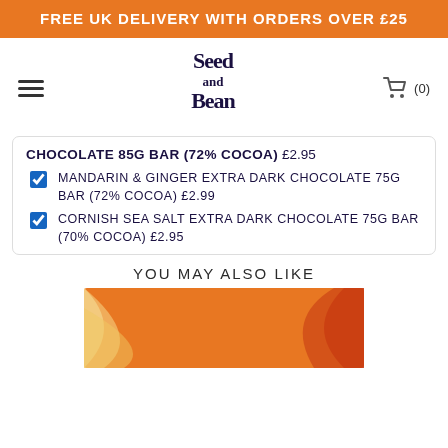FREE UK DELIVERY WITH ORDERS OVER £25
[Figure (logo): Seed and Bean logo - stylized handwritten text]
CHOCOLATE 85G BAR (72% COCOA) £2.95 ✓ MANDARIN & GINGER EXTRA DARK CHOCOLATE 75G BAR (72% COCOA) £2.99 ✓ CORNISH SEA SALT EXTRA DARK CHOCOLATE 75G BAR (70% COCOA) £2.95
YOU MAY ALSO LIKE
[Figure (photo): Orange and cream swirl pattern chocolate bar packaging]